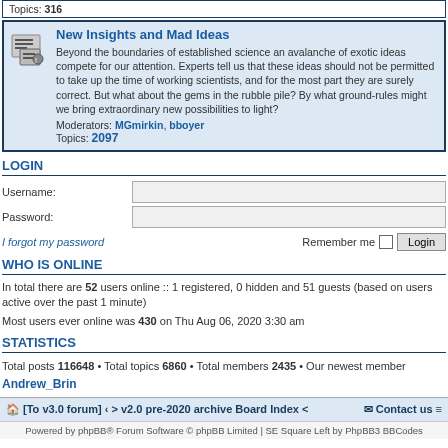Topics: 316
New Insights and Mad Ideas
Beyond the boundaries of established science an avalanche of exotic ideas compete for our attention. Experts tell us that these ideas should not be permitted to take up the time of working scientists, and for the most part they are surely correct. But what about the gems in the rubble pile? By what ground-rules might we bring extraordinary new possibilities to light? Moderators: MGmirkin, bboyer Topics: 2097
LOGIN
Username:
Password:
I forgot my password Remember me Login
WHO IS ONLINE
In total there are 52 users online :: 1 registered, 0 hidden and 51 guests (based on users active over the past 1 minute)
Most users ever online was 430 on Thu Aug 06, 2020 3:30 am
STATISTICS
Total posts 116648 • Total topics 6860 • Total members 2435 • Our newest member Andrew_Brin
[To v3.0 forum] ‹ > v2.0 pre-2020 archive Board Index < Contact us
Powered by phpBB® Forum Software © phpBB Limited | SE Square Left by PhpBB3 BBCodes